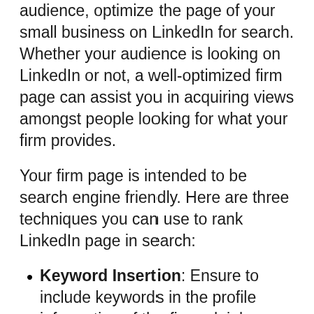audience, optimize the page of your small business on LinkedIn for search. Whether your audience is looking on LinkedIn or not, a well-optimized firm page can assist you in acquiring views amongst people looking for what your firm provides.
Your firm page is intended to be search engine friendly. Here are three techniques you can use to rank LinkedIn page in search:
Keyword Insertion: Ensure to include keywords in the profile information of the firm, plainly exemplifying who you're and what you do. If you're not certain which keywords to utilize, contemplate about it this way: What expressions or words would a prospective consumer apply when